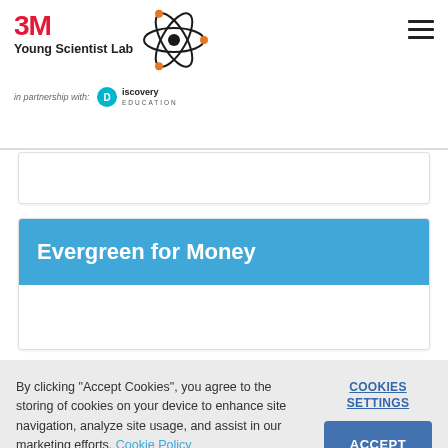3M Young Scientist Lab in partnership with Discovery Education
Evergreen for Money
By clicking "Accept Cookies", you agree to the storing of cookies on your device to enhance site navigation, analyze site usage, and assist in our marketing efforts. Cookie Policy
COOKIES SETTINGS
ACCEPT COOKIES